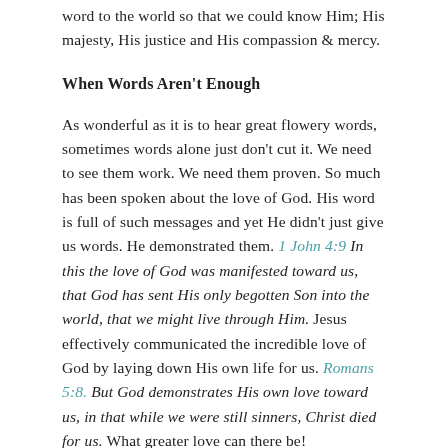word to the world so that we could know Him; His majesty, His justice and His compassion & mercy.
When Words Aren't Enough
As wonderful as it is to hear great flowery words, sometimes words alone just don't cut it. We need to see them work. We need them proven. So much has been spoken about the love of God. His word is full of such messages and yet He didn't just give us words. He demonstrated them. 1 John 4:9 In this the love of God was manifested toward us, that God has sent His only begotten Son into the world, that we might live through Him. Jesus effectively communicated the incredible love of God by laying down His own life for us. Romans 5:8. But God demonstrates His own love toward us, in that while we were still sinners, Christ died for us. What greater love can there be!